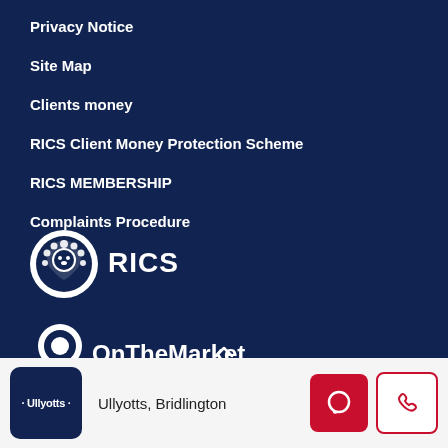Privacy Notice
Site Map
Clients money
RICS Client Money Protection Scheme
RICS MEMBERSHIP
Complaints Procedure
[Figure (logo): RICS logo — lion emblem with RICS text in white on navy background]
[Figure (logo): OnTheMarket logo — map pin icon with OnTheMarket text in white on navy background]
Ullyotts, Bridlington